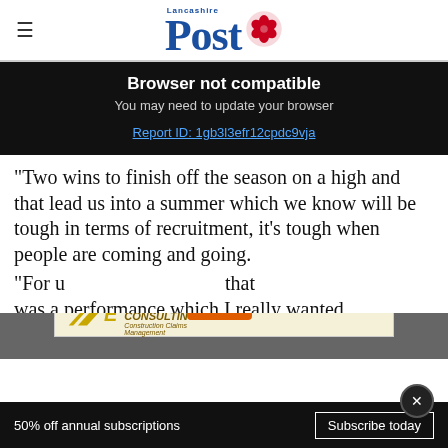Lancashire Post
Browser not compatible
You may need to update your browser
Report ID: 1gb3l3efr12cpdc9vja
"Two wins to finish off the season on a high and that lead us into a summer which we know will be tough in terms of recruitment, it’s tough when people are coming and going.
[Figure (other): Excell Consulting advertisement banner with logo, 'Call Us!' button, and Construction Contract Claims text]
"For u... that was a performance which I really wanted.
50% off annual subscriptions   Subscribe today